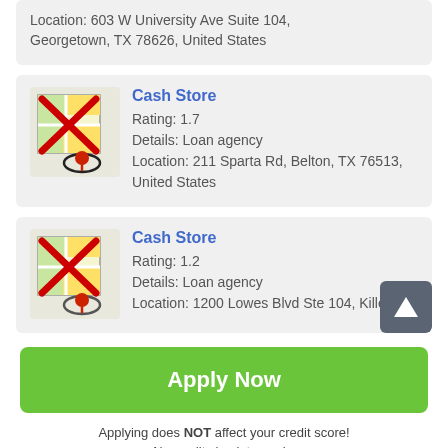Location: 603 W University Ave Suite 104, Georgetown, TX 78626, United States
Cash Store
Rating: 1.7
Details: Loan agency
Location: 211 Sparta Rd, Belton, TX 76513, United States
[Figure (illustration): Map icon with red X crossed over it and a red map pin circled at the bottom]
Cash Store
Rating: 1.2
Details: Loan agency
Location: 1200 Lowes Blvd Ste 104, Killeen,
[Figure (illustration): Map icon with red X crossed over it and a red map pin circled at the bottom]
Apply Now
Applying does NOT affect your credit score!
No credit check to apply.